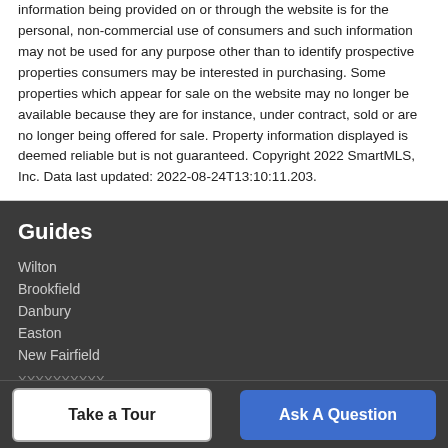information being provided on or through the website is for the personal, non-commercial use of consumers and such information may not be used for any purpose other than to identify prospective properties consumers may be interested in purchasing. Some properties which appear for sale on the website may no longer be available because they are for instance, under contract, sold or are no longer being offered for sale. Property information displayed is deemed reliable but is not guaranteed. Copyright 2022 SmartMLS, Inc. Data last updated: 2022-08-24T13:10:11.203.
Guides
Wilton
Brookfield
Danbury
Easton
New Fairfield
Take a Tour
Ask A Question